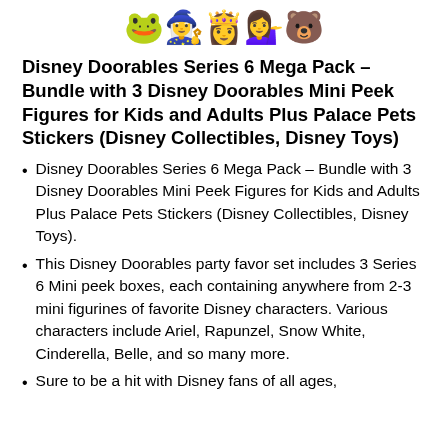[Figure (illustration): Row of five Disney Doorables character figurine emoji/icons: a green frog/dragon character, a dark-haired character, a blonde princess (Aurora), a long-haired princess (Rapunzel), and a small brown bear cub (Fawn/bear).]
Disney Doorables Series 6 Mega Pack – Bundle with 3 Disney Doorables Mini Peek Figures for Kids and Adults Plus Palace Pets Stickers (Disney Collectibles, Disney Toys)
Disney Doorables Series 6 Mega Pack – Bundle with 3 Disney Doorables Mini Peek Figures for Kids and Adults Plus Palace Pets Stickers (Disney Collectibles, Disney Toys).
This Disney Doorables party favor set includes 3 Series 6 Mini peek boxes, each containing anywhere from 2-3 mini figurines of favorite Disney characters. Various characters include Ariel, Rapunzel, Snow White, Cinderella, Belle, and so many more.
Sure to be a hit with Disney fans of all ages,